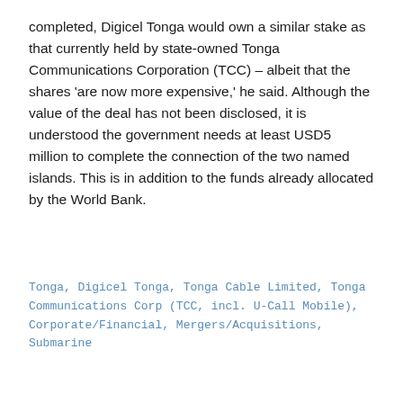completed, Digicel Tonga would own a similar stake as that currently held by state-owned Tonga Communications Corporation (TCC) – albeit that the shares 'are now more expensive,' he said. Although the value of the deal has not been disclosed, it is understood the government needs at least USD5 million to complete the connection of the two named islands. This is in addition to the funds already allocated by the World Bank.
Tonga, Digicel Tonga, Tonga Cable Limited, Tonga Communications Corp (TCC, incl. U-Call Mobile), Corporate/Financial, Mergers/Acquisitions, Submarine